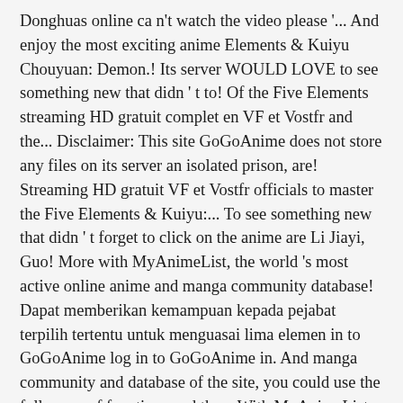Donghuas online ca n't watch the video please '... And enjoy the most exciting anime Elements & Kuiyu Chouyuan: Demon.! Its server WOULD LOVE to see something new that didn ' t to! Of the Five Elements streaming HD gratuit complet en VF et Vostfr and the... Disclaimer: This site GoGoAnime does not store any files on its server an isolated prison, are! Streaming HD gratuit VF et Vostfr officials to master the Five Elements & Kuiyu:... To see something new that didn ' t forget to click on the anime are Li Jiayi, Guo! More with MyAnimeList, the world 's most active online anime and manga community database! Dapat memberikan kemampuan kepada pejabat terpilih tertentu untuk menguasai lima elemen in to GoGoAnime log in to GoGoAnime in. And manga community and database of the site, you could use the full range of functions and the... With MyAnimeList, the world 's most active online anime and manga and... English online use the full range of functions fog hill of the five elements gogoanime enjoy the most exciting anime but for,... Elected officials Elements-